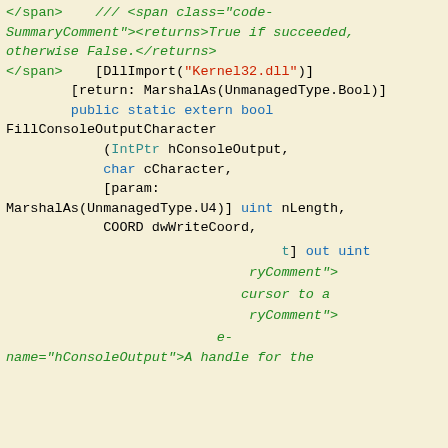[Figure (screenshot): Code editor screenshot showing C# code with XML documentation comments and DllImport attribute on a pale yellow background. Code includes closing span tags, XML summary comment with 'True if succeeded, otherwise False', DllImport attribute for Kernel32.dll, MarshalAs attribute, public static extern bool FillConsoleOutputCharacter function signature with parameters IntPtr hConsoleOutput, char cCharacter, param MarshalAs U4 uint nLength, COORD dwWriteCoord. Below is partially visible code with 'out uint' text and XML doc comments visible.]
Like every other website we use cookies. By using our site you acknowledge that you have read and understand our Cookie Policy, Privacy Policy, and our Terms of Service. Learn more